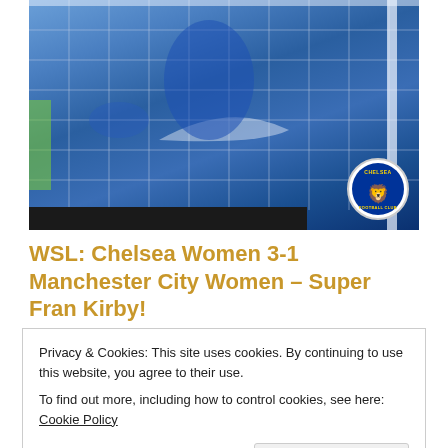[Figure (photo): A Chelsea Women football player in blue Chelsea kit standing near a goal net, with Chelsea FC badge visible in the bottom right corner of the image.]
WSL: Chelsea Women 3-1 Manchester City Women – Super Fran Kirby!
Privacy & Cookies: This site uses cookies. By continuing to use this website, you agree to their use.
To find out more, including how to control cookies, see here: Cookie Policy
Close and accept